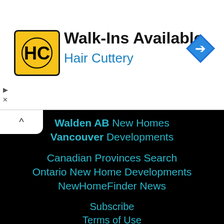[Figure (logo): Hair Cuttery ad banner with HC logo, 'Walk-Ins Available' headline, 'Hair Cuttery' subtext in blue, and a blue navigation arrow icon on the right]
Walden AB New Homes
Vancouver Developments
Canadian Provinces Search
Ontario New Home Developments
NewHomeFinder News
Subscribe
Terms of Use
Contact